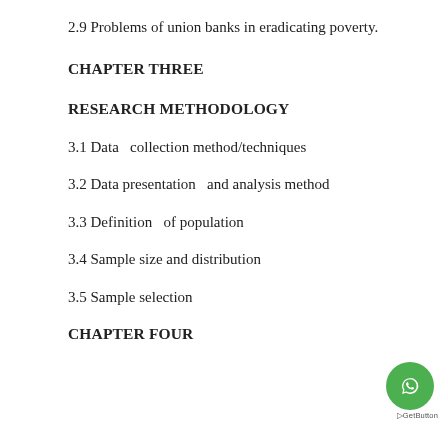2.9 Problems of union banks in eradicating poverty.
CHAPTER THREE
RESEARCH METHODOLOGY
3.1 Data  collection method/techniques
3.2 Data presentation  and analysis method
3.3 Definition  of population
3.4 Sample size and distribution
3.5 Sample selection
CHAPTER FOUR